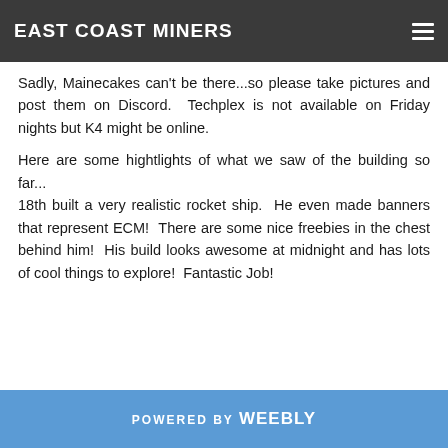EAST COAST MINERS
Sadly, Mainecakes can't be there...so please take pictures and post them on Discord.  Techplex is not available on Friday nights but K4 might be online.
Here are some hightlights of what we saw of the building so far...
18th built a very realistic rocket ship.  He even made banners that represent ECM!  There are some nice freebies in the chest behind him!  His build looks awesome at midnight and has lots of cool things to explore!  Fantastic Job!
POWERED BY weebly